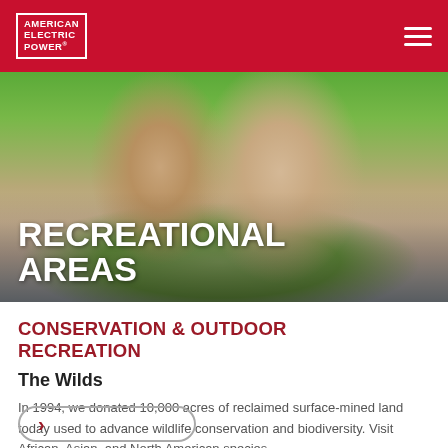AMERICAN ELECTRIC POWER
[Figure (photo): Two people kayaking or canoeing outdoors, smiling, with paddles raised. Background shows green trees and water. Woman wears a red hat and orange top; man wears a light blue polo shirt.]
RECREATIONAL AREAS
CONSERVATION & OUTDOOR RECREATION
The Wilds
In 1994, we donated 10,000 acres of reclaimed surface-mined land today used to advance wildlife conservation and biodiversity. Visit African, Asian, and North American species.